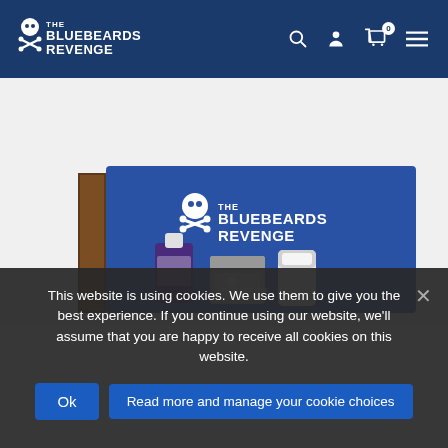The Bluebeards Revenge - navigation bar with logo, search, account, cart (0), and menu icons
[Figure (photo): Product photo showing The Bluebeards Revenge gift set box in royal blue with skull and crossbones logo, containing a purple bottle, a tin container, and a white deodorant stick]
This website is using cookies. We use them to give you the best experience. If you continue using our website, we'll assume that you are happy to receive all cookies on this website.
Ok | Read more and manage your cookie choices